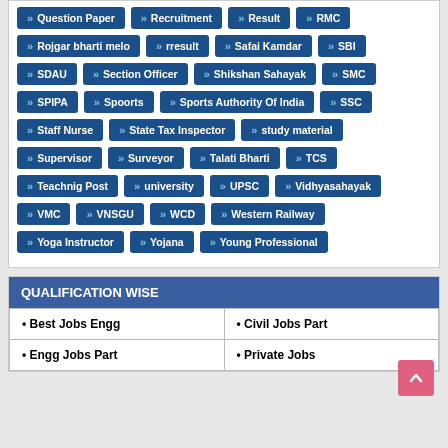Question Paper
Recruitment
Result
RMC
Rojgar bharti melo
rresult
Safai Kamdar
SBI
SDAU
Section Officer
Shikshan Sahayak
SMC
SPIPA
Spoorts
Sports Authority Of India
SSC
Staff Nurse
State Tax Inspector
study material
Supervisor
Surveyor
Talati Bharti
TCS
Teachnig Post
university
UPSC
Vidhyasahayak
VMC
VNSGU
WCD
Western Railway
Yoga Instructor
Yojana
Young Professional
QUALIFICATION WISE
| • Best Jobs Engg | • Civil Jobs Part |
| • Engg Jobs Part | • Private Jobs |